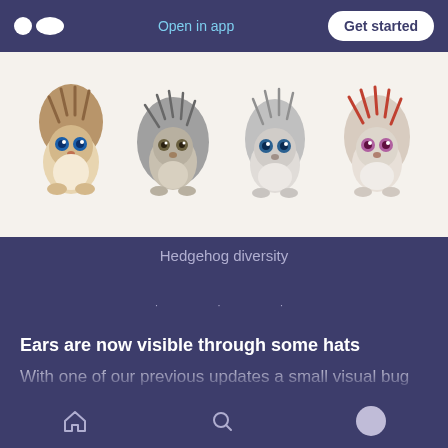Open in app | Get started
[Figure (illustration): Four cute cartoon hedgehog characters side by side on a white/beige background, showing hedgehog diversity with different colorings and fur styles.]
Hedgehog diversity
· · ·
Ears are now visible through some hats
With one of our previous updates a small visual bug slipped through making cutie ears pop out through several hats. It was not intended, but
Home | Search | Profile